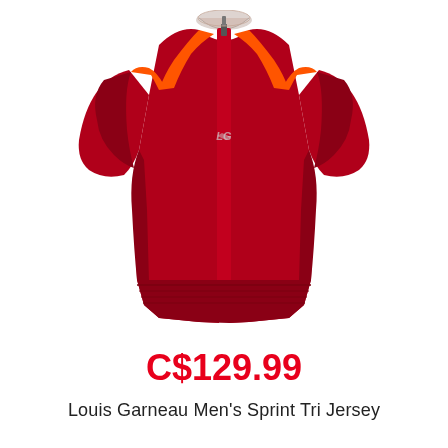[Figure (photo): Red Louis Garneau Men's Sprint Tri Jersey with orange accent stripes on shoulders and front zipper, displayed flat on white background]
C$129.99
Louis Garneau Men's Sprint Tri Jersey